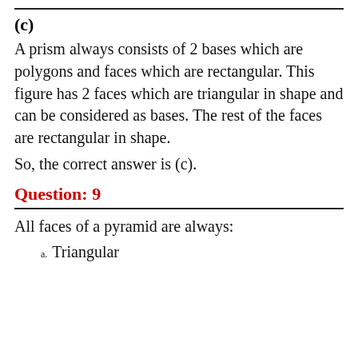(c)
A prism always consists of 2 bases which are polygons and faces which are rectangular. This figure has 2 faces which are triangular in shape and can be considered as bases. The rest of the faces are rectangular in shape.
So, the correct answer is (c).
Question: 9
All faces of a pyramid are always:
Triangular